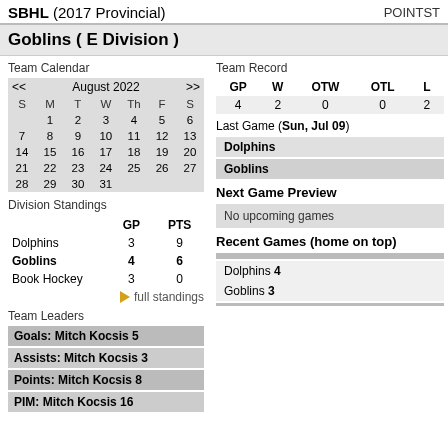SBHL (2017 Provincial) POINTST
Goblins ( E Division )
Team Calendar
| S | M | T | W | Th | F | S |
| --- | --- | --- | --- | --- | --- | --- |
|  | 1 | 2 | 3 | 4 | 5 | 6 |
| 7 | 8 | 9 | 10 | 11 | 12 | 13 |
| 14 | 15 | 16 | 17 | 18 | 19 | 20 |
| 21 | 22 | 23 | 24 | 25 | 26 | 27 |
| 28 | 29 | 30 | 31 |  |  |  |
Division Standings
|  | GP | PTS |
| --- | --- | --- |
| Dolphins | 3 | 9 |
| Goblins | 4 | 6 |
| Book Hockey | 3 | 0 |
full standings
Team Leaders
Goals: Mitch Kocsis 5
Assists: Mitch Kocsis 3
Points: Mitch Kocsis 8
PIM: Mitch Kocsis 16
Team Record
| GP | W | OTW | OTL | L |
| --- | --- | --- | --- | --- |
| 4 | 2 | 0 | 0 | 2 |
Last Game (Sun, Jul 09)
Dolphins
Goblins
Next Game Preview
No upcoming games
Recent Games (home on top)
Dolphins 4
Goblins 3